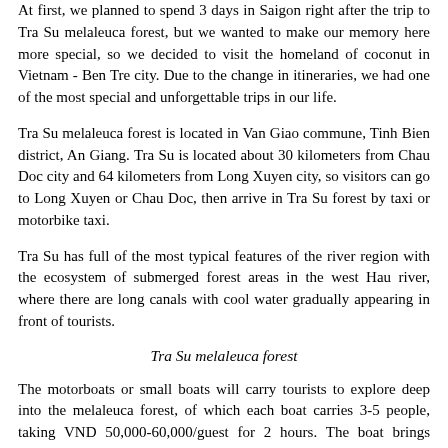At first, we planned to spend 3 days in Saigon right after the trip to Tra Su melaleuca forest, but we wanted to make our memory here more special, so we decided to visit the homeland of coconut in Vietnam - Ben Tre city. Due to the change in itineraries, we had one of the most special and unforgettable trips in our life.
Tra Su melaleuca forest is located in Van Giao commune, Tinh Bien district, An Giang. Tra Su is located about 30 kilometers from Chau Doc city and 64 kilometers from Long Xuyen city, so visitors can go to Long Xuyen or Chau Doc, then arrive in Tra Su forest by taxi or motorbike taxi.
Tra Su has full of the most typical features of the river region with the ecosystem of submerged forest areas in the west Hau river, where there are long canals with cool water gradually appearing in front of tourists.
Tra Su melaleuca forest
The motorboats or small boats will carry tourists to explore deep into the melaleuca forest, of which each boat carries 3-5 people, taking VND 50,000-60,000/guest for 2 hours. The boat brings visitors into the deep forest to see the beautiful natural scenery and save memorable pictures. Visitors will be immersed in the pure nature, watching the shiny yellow “dien dien” flowers and the